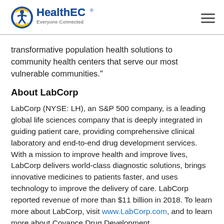HealthEC Everyone Connected
transformative population health solutions to community health centers that serve our most vulnerable communities."
About LabCorp
LabCorp (NYSE: LH), an S&P 500 company, is a leading global life sciences company that is deeply integrated in guiding patient care, providing comprehensive clinical laboratory and end-to-end drug development services. With a mission to improve health and improve lives, LabCorp delivers world-class diagnostic solutions, brings innovative medicines to patients faster, and uses technology to improve the delivery of care. LabCorp reported revenue of more than $11 billion in 2018. To learn more about LabCorp, visit www.LabCorp.com, and to learn more about Covance Drug Development,